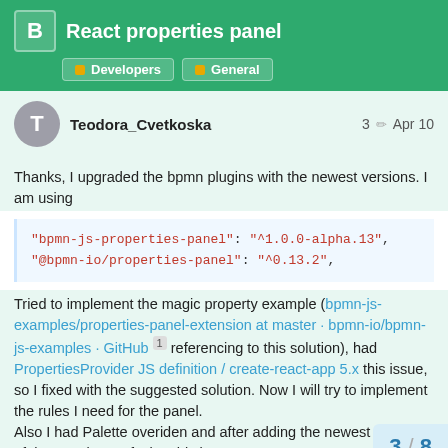React properties panel — Developers · General
Teodora_Cvetkoska   3 ✏ Apr 10
Thanks, I upgraded the bpmn plugins with the newest versions. I am using
"bpmn-js-properties-panel": "^1.0.0-alpha.13",
"@bpmn-io/properties-panel": "^0.13.2",
Tried to implement the magic property example (bpmn-js-examples/properties-panel-extension at master · bpmn-io/bpmn-js-examples · GitHub 1 referencing to this solution), had PropertiesProvider JS definition / create-react-app 5.x this issue, so I fixed with the suggested solution. Now I will try to implement the rules I need for the panel.
Also I had Palette overiden and after adding the newest version of the panel. I am facing this issue
3 / 8